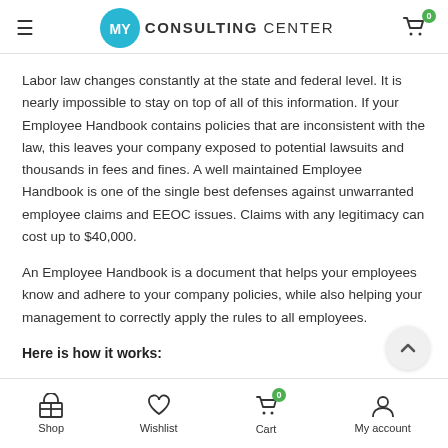MY CONSULTING CENTER
Labor law changes constantly at the state and federal level. It is nearly impossible to stay on top of all of this information. If your Employee Handbook contains policies that are inconsistent with the law, this leaves your company exposed to potential lawsuits and thousands in fees and fines. A well maintained Employee Handbook is one of the single best defenses against unwarranted employee claims and EEOC issues. Claims with any legitimacy can cost up to $40,000.
An Employee Handbook is a document that helps your employees know and adhere to your company policies, while also helping your management to correctly apply the rules to all employees.
Here is how it works:
Shop  Wishlist  Cart  My account